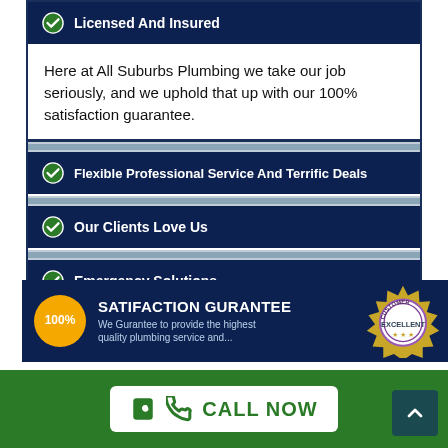Licensed And Insured
Here at All Suburbs Plumbing we take our job seriously, and we uphold that up with our 100% satisfaction guarantee.
Flexible Professional Service And Terrific Deals
Our Clients Love Us
Emergency Solutions
[Figure (infographic): 100% Satisfaction Guarantee banner with an orange circle showing '100%', bold white text reading 'SATIFACTION GURANTEE', subtext 'We Gurantee to provide the highest quality plumbing service and...', and a gold/purple 'Customer Excellent' seal badge on the right.]
CALL NOW